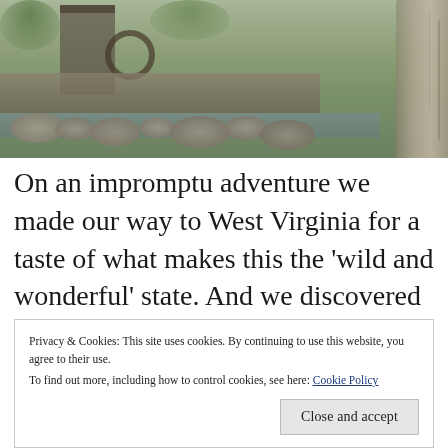[Figure (photo): Outdoor nature photo showing a rocky stream or river scene with a mill structure, large boulders, and a prominent tree trunk on the right side. Green foliage visible. Natural landscape of West Virginia.]
On an impromptu adventure we made our way to West Virginia for a taste of what makes this the 'wild and wonderful' state. And we discovered the tagline perfectly fits the state. It is a wonderland of wild, natural beauty that is largely untouched by cities and industry. And true to form, our first stop [...]
Privacy & Cookies: This site uses cookies. By continuing to use this website, you agree to their use.
To find out more, including how to control cookies, see here: Cookie Policy
Close and accept